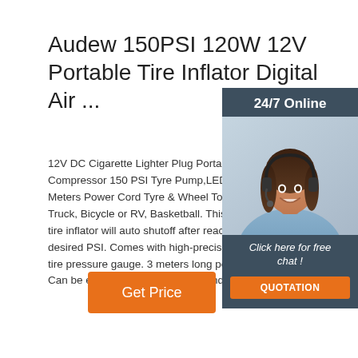Audew 150PSI 120W 12V Portable Tire Inflator Digital Air ...
12V DC Cigarette Lighter Plug Portable Air Compressor 150 PSI Tyre Pump,LED Light 3 Meters Power Cord Tyre & Wheel Tools for Truck, Bicycle or RV, Basketball. This intelligent tire inflator will auto shutoff after reaching the desired PSI. Comes with high-precision digital tire pressure gauge. 3 meters long power cord. Can be easily connected to front and rear tires.
[Figure (photo): Customer service agent photo with 24/7 Online label, Click here for free chat text, and QUOTATION button on dark blue-gray background panel]
Get Price